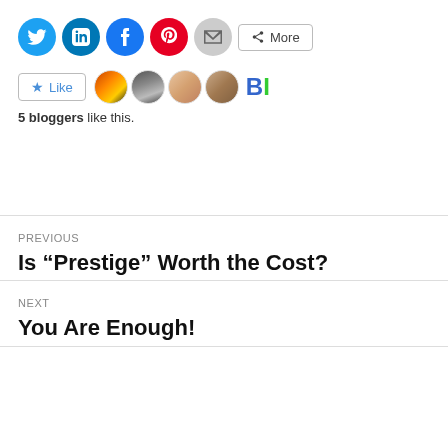[Figure (other): Social share buttons: Twitter (blue circle), LinkedIn (blue circle), Facebook (blue circle), Pinterest (red circle), Email (gray circle), More (button)]
[Figure (other): Like button with star icon, followed by 4 avatar thumbnails and a BI logo]
5 bloggers like this.
PREVIOUS
Is “Prestige” Worth the Cost?
NEXT
You Are Enough!